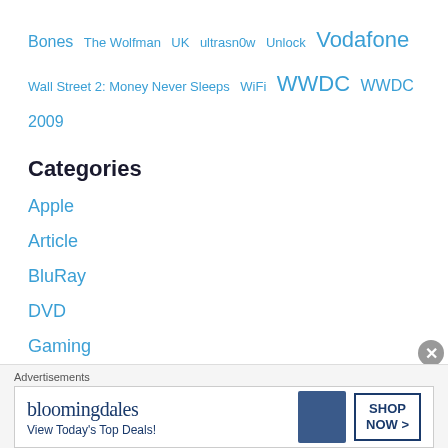Bones The Wolfman UK ultrasn0w Unlock Vodafone Wall Street 2: Money Never Sleeps WiFi WWDC WWDC 2009
Categories
Apple
Article
BluRay
DVD
Gaming
How To
iOS 4
Advertisements
[Figure (other): Bloomingdales advertisement banner with logo, tagline 'View Today's Top Deals!' and SHOP NOW button with woman in hat image]